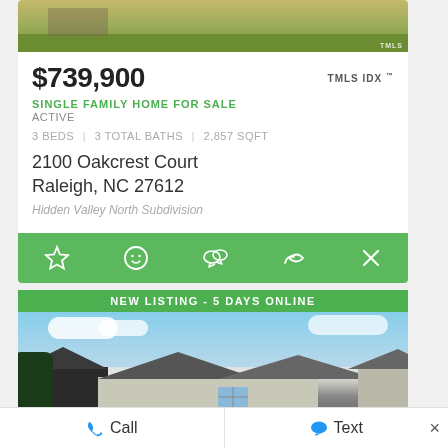[Figure (photo): Top portion of a house exterior photo showing lawn and landscaping]
$739,900
TMLS IDX ™
SINGLE FAMILY HOME FOR SALE
ACTIVE
3 BEDS | 3 TOTAL BATHS | 2,857 SQFT
2100 Oakcrest Court
Raleigh, NC 27612
Hidden Valley North Subdivision
[Figure (infographic): Green action bar with icons: star (favorite), smiley (like), chat (message), share (arrow), close (x)]
[Figure (photo): NEW LISTING - 5 DAYS ONLINE banner with house exterior photo below showing roofline against blue sky]
Call
Text